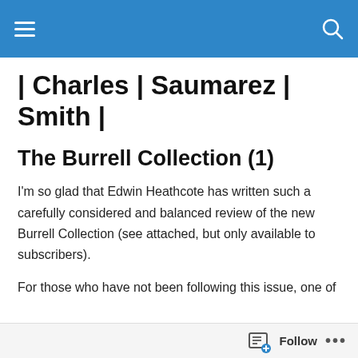Navigation bar with hamburger menu and search icon
| Charles | Saumarez | Smith |
The Burrell Collection (1)
I'm so glad that Edwin Heathcote has written such a carefully considered and balanced review of the new Burrell Collection (see attached, but only available to subscribers).
For those who have not been following this issue, one of
Follow ...